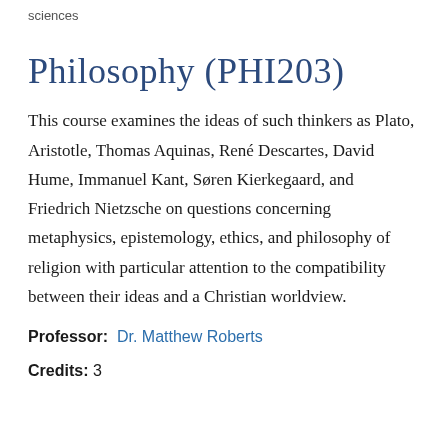sciences
Philosophy (PHI203)
This course examines the ideas of such thinkers as Plato, Aristotle, Thomas Aquinas, René Descartes, David Hume, Immanuel Kant, Søren Kierkegaard, and Friedrich Nietzsche on questions concerning metaphysics, epistemology, ethics, and philosophy of religion with particular attention to the compatibility between their ideas and a Christian worldview.
Professor: Dr. Matthew Roberts
Credits: 3